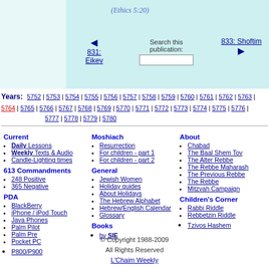(Ethics 5:20)
◄ 831: Eikev | Search this publication: | 833: Shoftim ►
Years: 5752 | 5753 | 5754 | 5755 | 5756 | 5757 | 5758 | 5759 | 5760 | 5761 | 5762 | 5763 | 5764 | 5765 | 5766 | 5767 | 5768 | 5769 | 5770 | 5771 | 5772 | 5773 | 5774 | 5775 | 5776 | 5777 | 5778 | 5779 | 5780
Current
Daily Lessons
Weekly Texts & Audio
Candle-Lighting times
613 Commandments
248 Positive
365 Negative
PDA
BlackBerry
iPhone / iPod Touch
Java Phones
Palm Pilot
Palm Pre
Pocket PC
P800/P900
Moshiach
Resurrection
For children - part 1
For children - part 2
General
Jewish Women
Holiday guides
About Holidays
The Hebrew Alphabet
Hebrew/English Calendar
Glossary
Books
by SIE
About
Chabad
The Baal Shem Tov
The Alter Rebbe
The Rebbe Maharash
The Previous Rebbe
The Rebbe
Mitzvah Campaign
Children's Corner
Rabbi Riddle
Rebbetzin Riddle
Tzivos Hashem
© Copyright 1988-2009 All Rights Reserved L'Chaim Weekly